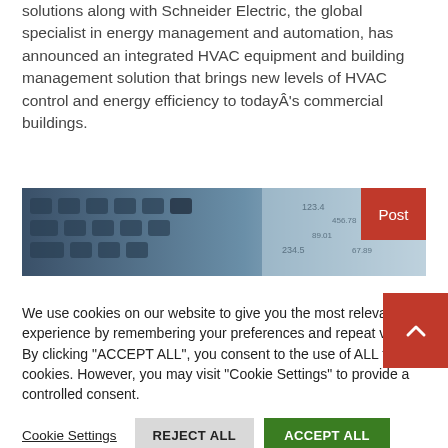solutions along with Schneider Electric, the global specialist in energy management and automation, has announced an integrated HVAC equipment and building management solution that brings new levels of HVAC control and energy efficiency to todayÂ's commercial buildings.
[Figure (photo): Close-up photo of a dark keyboard with some financial data/calculator visible in the background, with a red 'Post' badge overlay in the top-right corner.]
We use cookies on our website to give you the most relevant experience by remembering your preferences and repeat visits. By clicking "ACCEPT ALL", you consent to the use of ALL the cookies. However, you may visit "Cookie Settings" to provide a controlled consent.
Cookie Settings | REJECT ALL | ACCEPT ALL